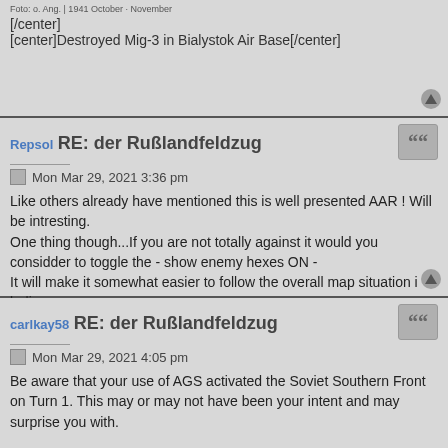[/center]
[center]Destroyed Mig-3 in Bialystok Air Base[/center]
Repsol RE: der Rußlandfeldzug
Mon Mar 29, 2021 3:36 pm
Like others already have mentioned this is well presented AAR ! Will be intresting.
One thing though...If you are not totally against it would you considder to toggle the - show enemy hexes ON -
It will make it somewhat easier to follow the overall map situation i belive.
carlkay58 RE: der Rußlandfeldzug
Mon Mar 29, 2021 4:05 pm
Be aware that your use of AGS activated the Soviet Southern Front on Turn 1. This may or may not have been your intent and may surprise you with.